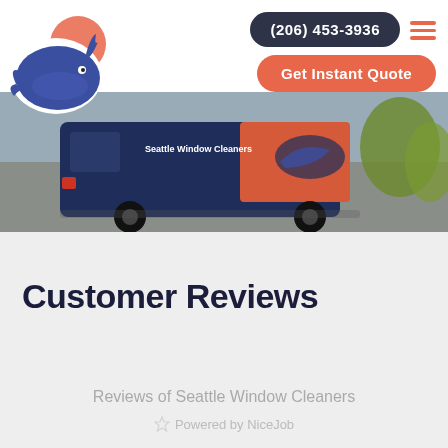(206) 453-3936  Get Instant Quote
[Figure (logo): Seattle Window Cleaners logo: blue whale with coral/salmon sun circle on white background]
[Figure (photo): Aerial/overhead view of Seattle Window Cleaners branded van/truck in a parking lot, navy blue and coral/red color scheme with whale logo on side, trees visible in background]
Customer Reviews
Reviews of Seattle Window Cleaners
Powered by NiceJob